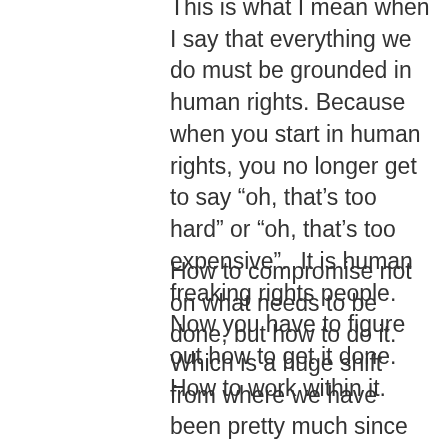This is what I mean when I say that everything we do must be grounded in human rights. Because when you start in human rights, you no longer get to say “oh, that’s too hard” or “oh, that’s too expensive”.  It is human freaking rights people. Now you have to figure out how to get it done. How to work within it.
How to compromise not on what needs to be done, but how to do it.
Which is a huge shift from where we have been pretty much since Tricky Dick took office and started the long slog of dismantling the work of FDR and Truman to make America Great Again.